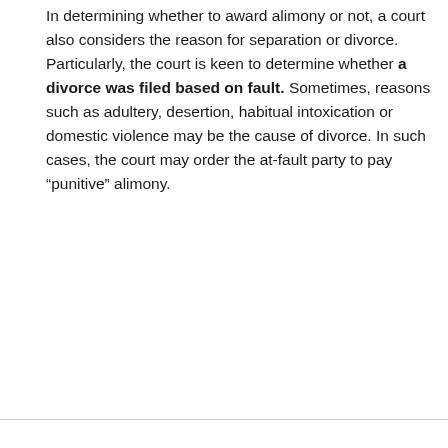In determining whether to award alimony or not, a court also considers the reason for separation or divorce. Particularly, the court is keen to determine whether a divorce was filed based on fault. Sometimes, reasons such as adultery, desertion, habitual intoxication or domestic violence may be the cause of divorce. In such cases, the court may order the at-fault party to pay “punitive” alimony.